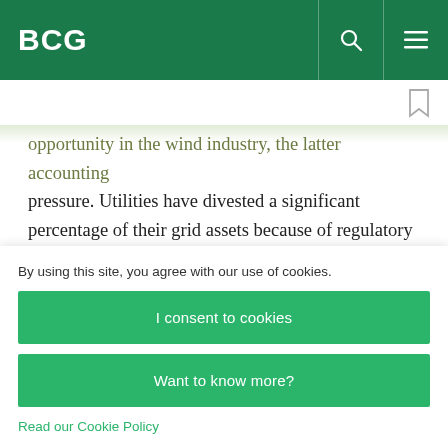BCG
opportunity in the wind industry, the latter accounting pressure. Utilities have divested a significant percentage of their grid assets because of regulatory pressure to unbundle energy assets and—partly—the belief that return-regulated businesses are unattractive. And utilities' share of ownership of
By using this site, you agree with our use of cookies.
I consent to cookies
Want to know more?
Read our Cookie Policy